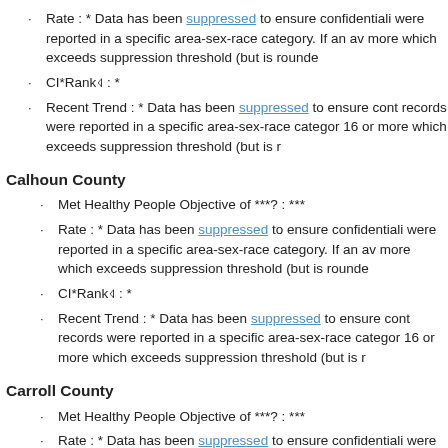Rate : * Data has been suppressed to ensure confidentiality were reported in a specific area-sex-race category. If an av more which exceeds suppression threshold (but is rounde
CI*Rank⋔ : *
Recent Trend : * Data has been suppressed to ensure cont records were reported in a specific area-sex-race category 16 or more which exceeds suppression threshold (but is r
Calhoun County
Met Healthy People Objective of ***? : ***
Rate : * Data has been suppressed to ensure confidentiality were reported in a specific area-sex-race category. If an av more which exceeds suppression threshold (but is rounde
CI*Rank⋔ : *
Recent Trend : * Data has been suppressed to ensure cont records were reported in a specific area-sex-race category. 16 or more which exceeds suppression threshold (but is r
Carroll County
Met Healthy People Objective of ***? : ***
Rate : * Data has been suppressed to ensure confidentiality were reported in a specific area-sex-race category. If an av